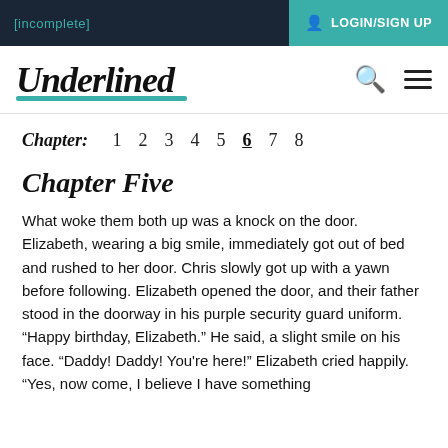[incomplete]
Underlined | LOGIN/SIGN UP
Chapter: 1 2 3 4 5 6 7 8
Chapter Five
What woke them both up was a knock on the door. Elizabeth, wearing a big smile, immediately got out of bed and rushed to her door. Chris slowly got up with a yawn before following. Elizabeth opened the door, and their father stood in the doorway in his purple security guard uniform. «Happy birthday, Elizabeth.» He said, a slight smile on his face. «Daddy! Daddy! You’re here!» Elizabeth cried happily. «Yes, now come, I believe I have something